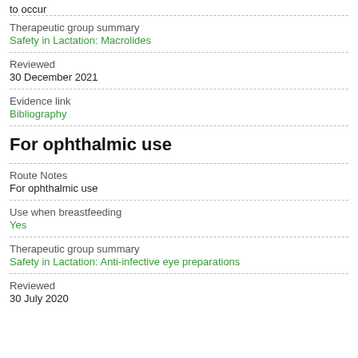to occur
Therapeutic group summary
Safety in Lactation: Macrolides
Reviewed
30 December 2021
Evidence link
Bibliography
For ophthalmic use
Route Notes
For ophthalmic use
Use when breastfeeding
Yes
Therapeutic group summary
Safety in Lactation: Anti-infective eye preparations
Reviewed
30 July 2020